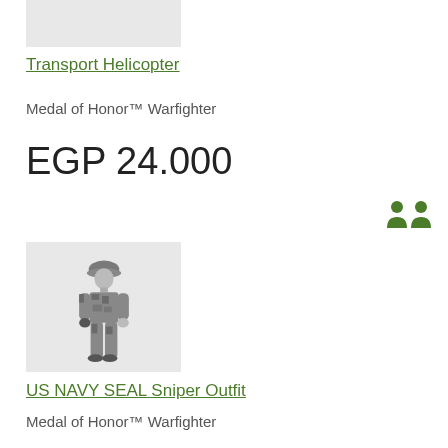[Figure (photo): Top cropped product image placeholder, light gray background]
Transport Helicopter
Medal of Honor™ Warfighter
EGP 24.000
[Figure (illustration): 3D avatar figure of a soldier in camouflage uniform with helmet, US NAVY SEAL Sniper Outfit]
US NAVY SEAL Sniper Outfit
Medal of Honor™ Warfighter